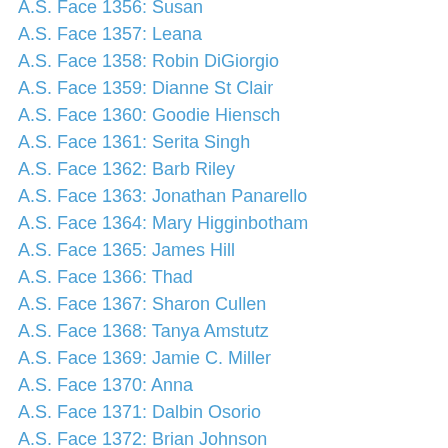A.S. Face 1356: Susan
A.S. Face 1357: Leana
A.S. Face 1358: Robin DiGiorgio
A.S. Face 1359: Dianne St Clair
A.S. Face 1360: Goodie Hiensch
A.S. Face 1361: Serita Singh
A.S. Face 1362: Barb Riley
A.S. Face 1363: Jonathan Panarello
A.S. Face 1364: Mary Higginbotham
A.S. Face 1365: James Hill
A.S. Face 1366: Thad
A.S. Face 1367: Sharon Cullen
A.S. Face 1368: Tanya Amstutz
A.S. Face 1369: Jamie C. Miller
A.S. Face 1370: Anna
A.S. Face 1371: Dalbin Osorio
A.S. Face 1372: Brian Johnson
A.S. Face 1373: Stephen Chinnery
A.S. Face 1374: Heather McCollim
A.S. Face 1375: Jeffrey Rood